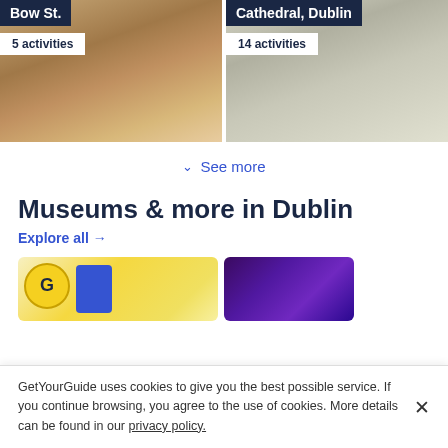[Figure (photo): Two venue/attraction cards side by side. Left: Jameson Distillery Bow St. with 5 activities badge. Right: Cathedral, Dublin with 14 activities badge.]
See more
Museums & more in Dublin
Explore all →
[Figure (screenshot): Two activity card thumbnails. Left: GetYourGuide G logo and phone mockup. Right: Purple/neon lit entertainment venue.]
GetYourGuide uses cookies to give you the best possible service. If you continue browsing, you agree to the use of cookies. More details can be found in our privacy policy.